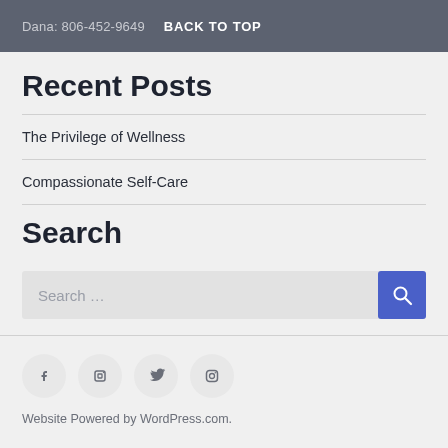Dana: 806-452-9649  BACK TO TOP
Recent Posts
The Privilege of Wellness
Compassionate Self-Care
Search
Search ...
Website Powered by WordPress.com.